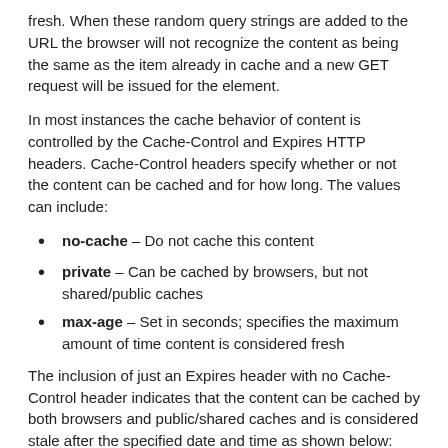fresh. When these random query strings are added to the URL the browser will not recognize the content as being the same as the item already in cache and a new GET request will be issued for the element.
In most instances the cache behavior of content is controlled by the Cache-Control and Expires HTTP headers. Cache-Control headers specify whether or not the content can be cached and for how long. The values can include:
no-cache – Do not cache this content
private – Can be cached by browsers, but not shared/public caches
max-age – Set in seconds; specifies the maximum amount of time content is considered fresh
The inclusion of just an Expires header with no Cache-Control header indicates that the content can be cached by both browsers and public/shared caches and is considered stale after the specified date and time as shown below: